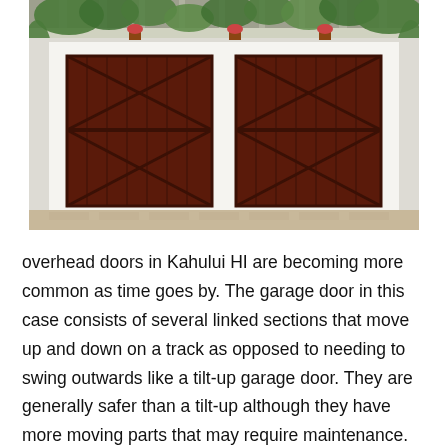[Figure (photo): Photograph of a residential garage with two large dark wood-stained overhead doors with X-pattern cross bracing, white trim framing, a pergola with climbing vines above, and a brick driveway below.]
overhead doors in Kahului HI are becoming more common as time goes by. The garage door in this case consists of several linked sections that move up and down on a track as opposed to needing to swing outwards like a tilt-up garage door. They are generally safer than a tilt-up although they have more moving parts that may require maintenance.